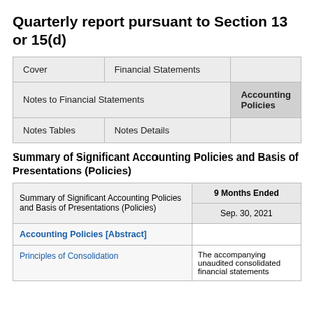Quarterly report pursuant to Section 13 or 15(d)
| Cover | Financial Statements |  |
| Notes to Financial Statements | Accounting Policies |  |
| Notes Tables | Notes Details |  |
Summary of Significant Accounting Policies and Basis of Presentations (Policies)
| Summary of Significant Accounting Policies and Basis of Presentations (Policies) | 9 Months Ended
Sep. 30, 2021 |
| --- | --- |
| Accounting Policies [Abstract] |  |
| Principles of Consolidation | The accompanying unaudited consolidated financial statements |